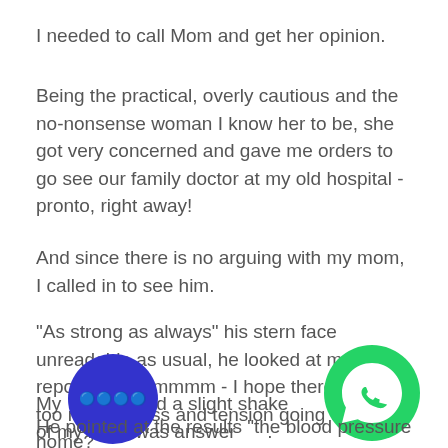I needed to call Mom and get her opinion.
Being the practical, overly cautious and the no-nonsense woman I know her to be, she got very concerned and gave me orders to go see our family doctor at my old hospital - pronto, right away!
And since there is no arguing with my mom, I called in to see him.
"As strong as always" his stern face unreadable as usual, he looked at my test reports "Hmmmmmm - I hope there is not too much stress and tension going on at home?''
My [nod] and a slight shake of my head was answer [enough].
He pointed at the results "the blood pressure is quite high!"